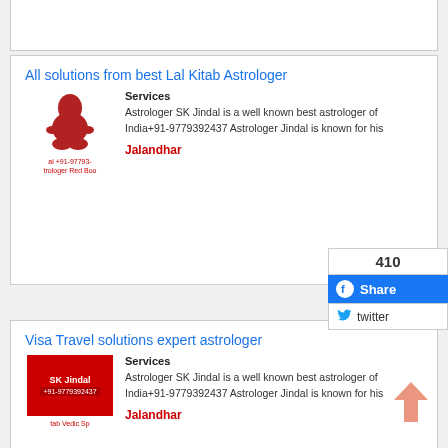[Figure (screenshot): Top partial card (cut off at top of page)]
All solutions from best Lal Kitab Astrologer
Services
Astrologer SK Jindal is a well known best astrologer of India+91-9779392437 Astrologer Jindal is known for his
[Figure (photo): Red seated figure / astrologer icon with text 'al +91-97793... trologer Red Boo']
Jalandhar
[Figure (screenshot): Social share widget showing count 410, Facebook Share button, and Twitter button]
Visa Travel solutions expert astrologer
Services
Astrologer SK Jindal is a well known best astrologer of India+91-9779392437 Astrologer Jindal is known for his
[Figure (photo): SK Jindal card image with phone number +91-9779392437 and text 'tab Vedic Sp']
Jalandhar
[Figure (other): Up arrow icon (salmon/coral color) at bottom right]